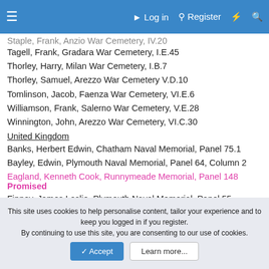≡  Log in  Register  ⚡  🔍
Staple, Frank, Anzio War Cemetery, I.V.20 [clipped]
Tagell, Frank, Gradara War Cemetery, I.E.45
Thorley, Harry, Milan War Cemetery, I.B.7
Thorley, Samuel, Arezzo War Cemetery V.D.10
Tomlinson, Jacob, Faenza War Cemetery, VI.E.6
Williamson, Frank, Salerno War Cemetery, V.E.28
Winnington, John, Arezzo War Cemetery, VI.C.30
United Kingdom
Banks, Herbert Edwin, Chatham Naval Memorial, Panel 75.1
Bayley, Edwin, Plymouth Naval Memorial, Panel 64, Column 2
Eagland, Kenneth Cook, Runnymeade Memorial, Panel 148
Promised
Finney, James Leslie, Plymouth Naval Memorial, Panel 55, Column 2
Foden, Norman Eric, Plymouth Naval Memorial, Panel 86, Column 2 [partially visible]
This site uses cookies to help personalise content, tailor your experience and to keep you logged in if you register.
By continuing to use this site, you are consenting to our use of cookies.